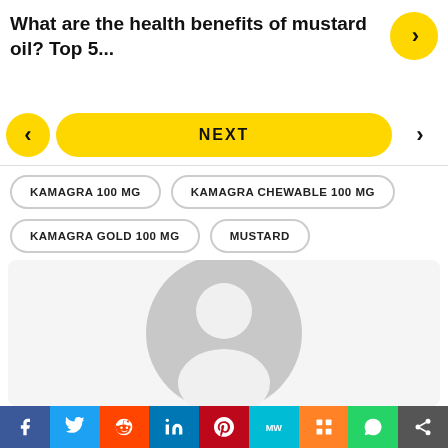What are the health benefits of mustard oil? Top 5...
NEXT
KAMAGRA 100 MG
KAMAGRA CHEWABLE 100 MG
KAMAGRA GOLD 100 MG
MUSTARD
[Figure (illustration): Default user avatar placeholder — gray circle with white silhouette of a person]
Facebook, Twitter, Reddit, LinkedIn, Pinterest, MW, Mix, WhatsApp, Share social buttons